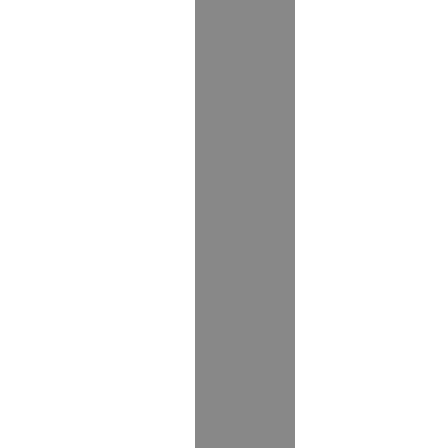Thai dictionary entry 1: Thai script block with romanization: naiM gaanM rohpH khrangH nanH faa... thaH haanR laeH phohnM thaH haan... yaangL raiM gaawF dtaamM thaangM... daiF yootL yangH gaanM rookH dtaav... "During that fighting, the gove... number of officers and soldie... government forces did not st..."
Thai dictionary entry 2: Thai script block with romanization: thaehM saaiM jamM nuaanM maiF na... "[He] poured a quantity of sa..."
Thai dictionary entry 3: Thai script block with romanization: phraawmH gapL gaanM theeF raoM c... jamM nuaanM maH haaR saanR pha...